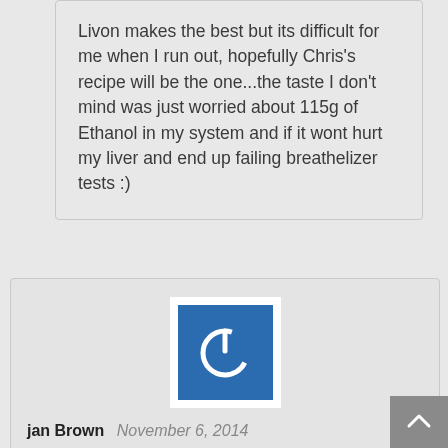Livon makes the best but its difficult for me when I run out, hopefully Chris's recipe will be the one...the taste I don't mind was just worried about 115g of Ethanol in my system and if it wont hurt my liver and end up failing breathelizer tests :)
[Figure (logo): Blue square avatar icon with white power/on button symbol]
jan Brown  November 6, 2014
Hi, I've just made my first batch and find the taste of this really bad. Can it be mixed with orange